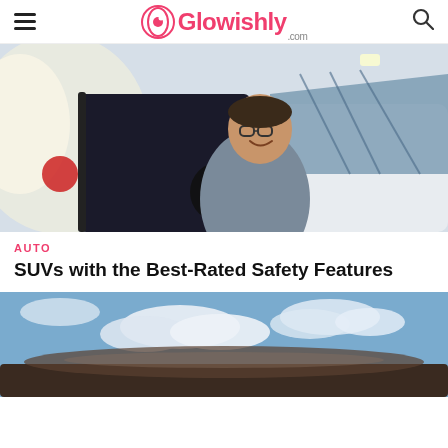Glowishly.com
[Figure (photo): A smiling man with glasses sitting in the driver seat of a car, holding the steering wheel, photographed in what appears to be a car dealership showroom.]
AUTO
SUVs with the Best-Rated Safety Features
[Figure (photo): A partial view of an SUV roof/top with a blue sky and clouds in the background.]